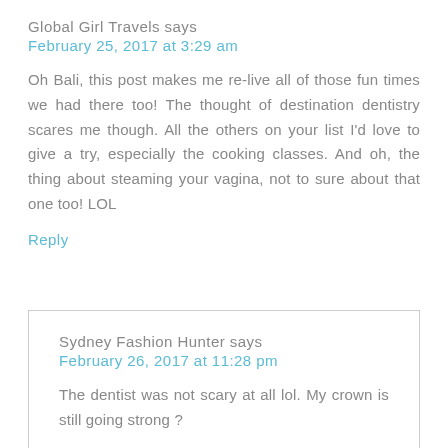Global Girl Travels says
February 25, 2017 at 3:29 am
Oh Bali, this post makes me re-live all of those fun times we had there too! The thought of destination dentistry scares me though. All the others on your list I'd love to give a try, especially the cooking classes. And oh, the thing about steaming your vagina, not to sure about that one too! LOL
Reply
Sydney Fashion Hunter says
February 26, 2017 at 11:28 pm
The dentist was not scary at all lol. My crown is still going strong ?